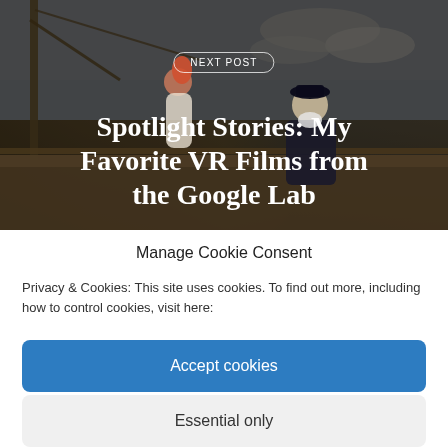[Figure (screenshot): Hero image of animated VR film scene showing characters on a boat deck with nautical setting, dark overlay with text overlaid]
NEXT POST
Spotlight Stories: My Favorite VR Films from the Google Lab
Manage Cookie Consent
Privacy & Cookies: This site uses cookies. To find out more, including how to control cookies, visit here:
Accept cookies
Essential only